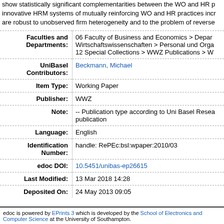show statistically significant complementarities between the WO and HR p innovative HRM systems of mutually reinforcing WO and HR practices incr are robust to unobserved firm heterogeneity and to the problem of reverse
| Field | Value |
| --- | --- |
| Faculties and Departments: | 06 Faculty of Business and Economics > Depar Wirtschaftswissenschaften > Personal und Orga 12 Special Collections > WWZ Publications > W |
| UniBasel Contributors: | Beckmann, Michael |
| Item Type: | Working Paper |
| Publisher: | WWZ |
| Note: | -- Publication type according to Uni Basel Resea publication |
| Language: | English |
| Identification Number: | handle: RePEc:bsl:wpaper:2010/03 |
| edoc DOI: | 10.5451/unibas-ep26615 |
| Last Modified: | 13 Mar 2018 14:28 |
| Deposited On: | 24 May 2013 09:05 |
edoc is powered by EPrints 3 which is developed by the School of Electronics and Computer Science at the University of Southampton.